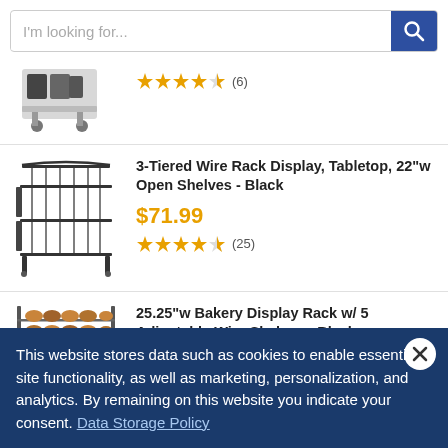[Figure (screenshot): Search bar with text 'I’m looking for...' and blue search button with magnifying glass icon]
[Figure (photo): Partial product listing: rolling cart with bottles, 4.5 star rating, (6) reviews]
[Figure (photo): 3-tiered black wire rack display tabletop product image]
3-Tiered Wire Rack Display, Tabletop, 22"w Open Shelves - Black
$71.99
★★★★½ (25)
[Figure (photo): 25.25"w bakery display rack with baked goods on 5 shelves]
25.25"w Bakery Display Rack w/ 5 Adjustable Wire Shelves - Black
This website stores data such as cookies to enable essential site functionality, as well as marketing, personalization, and analytics. By remaining on this website you indicate your consent. Data Storage Policy